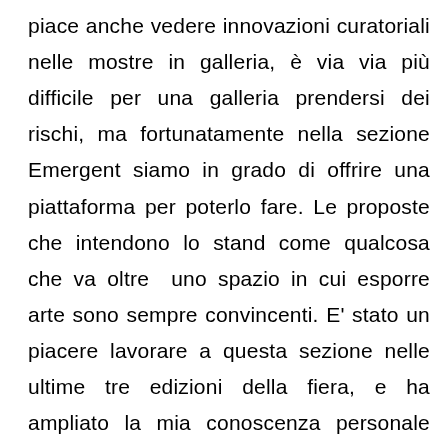piace anche vedere innovazioni curatoriali nelle mostre in galleria, è via via più difficile per una galleria prendersi dei rischi, ma fortunatamente nella sezione Emergent siamo in grado di offrire una piattaforma per poterlo fare. Le proposte che intendono lo stand come qualcosa che va oltre uno spazio in cui esporre arte sono sempre convincenti. E' stato un piacere lavorare a questa sezione nelle ultime tre edizioni della fiera, e ha ampliato la mia conoscenza personale riguardo alle giovani gallerie e ai giovani artisti. Quest'anno abbiamo una serie